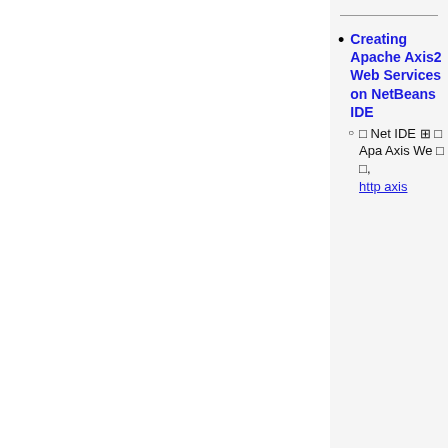Creating Apache Axis2 Web Services on NetBeans IDE
□ Net IDE ⊞ □ Apa Axis We □ □, http axis